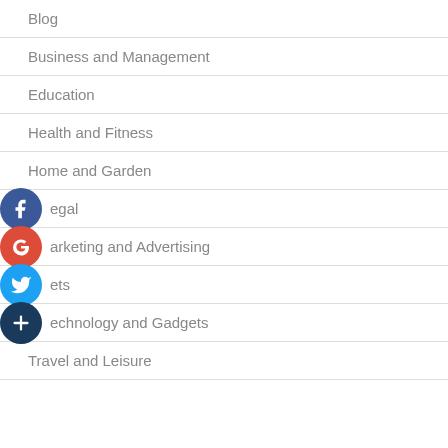Blog
Business and Management
Education
Health and Fitness
Home and Garden
Legal
Marketing and Advertising
Gadgets
Technology and Gadgets
Travel and Leisure